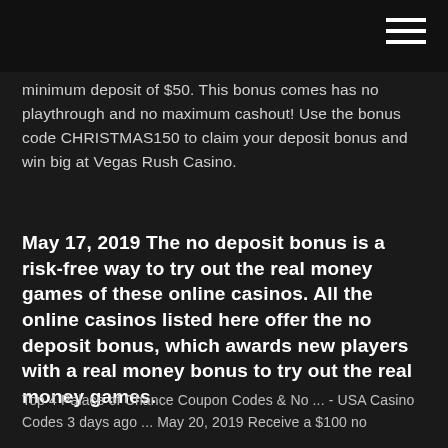minimum deposit of $50. This bonus comes has no playthrough and no maximum cashout! Use the bonus code CHRISTMAS150 to claim your deposit bonus and win big at Vegas Rush Casino.
May 17, 2019 The no deposit bonus is a risk-free way to try out the real money games of these online casinos. All the online casinos listed here offer the no deposit bonus, which awards new players with a real money bonus to try out the real money games.
Top 4 Palace of Chance Coupon Codes & No ... - USA Casino Codes 3 days ago ... May 20, 2019 Receive a $100 no